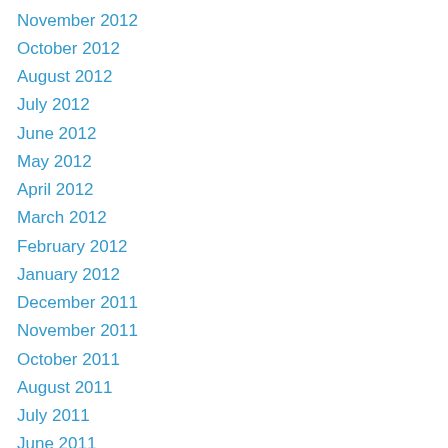November 2012
October 2012
August 2012
July 2012
June 2012
May 2012
April 2012
March 2012
February 2012
January 2012
December 2011
November 2011
October 2011
August 2011
July 2011
June 2011
May 2011
April 2011
March 2011
February 2011